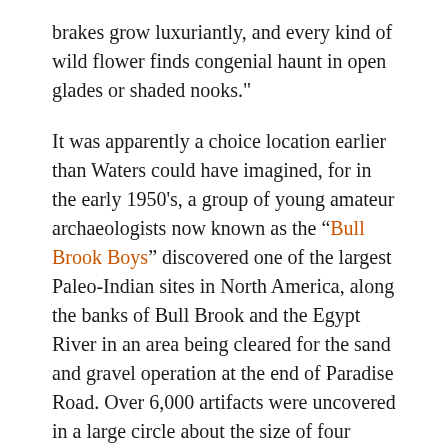brakes grow luxuriantly, and every kind of wild flower finds congenial haunt in open glades or shaded nooks."
It was apparently a choice location earlier than Waters could have imagined, for in the early 1950's, a group of young amateur archaeologists now known as the “Bull Brook Boys” discovered one of the largest Paleo-Indian sites in North America, along the banks of Bull Brook and the Egypt River in an area being cleared for the sand and gravel operation at the end of Paradise Road. Over 6,000 artifacts were uncovered in a large circle about the size of four football fields, and are on display at the Peabody Essex Museum in Salem.
Waters wrote about a similar discovery in the late 19th Century: “Some rods back from the highway at the Village, on the farm of John W. Nourse, a few years